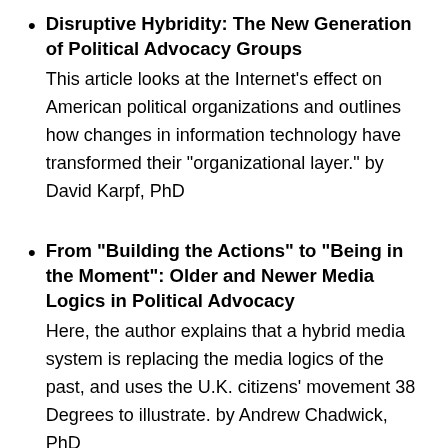Disruptive Hybridity: The New Generation of Political Advocacy Groups
This article looks at the Internet's effect on American political organizations and outlines how changes in information technology have transformed their “organizational layer.” by David Karpf, PhD
From “Building the Actions” to “Being in the Moment”: Older and Newer Media Logics in Political Advocacy
Here, the author explains that a hybrid media system is replacing the media logics of the past, and uses the U.K. citizens’ movement 38 Degrees to illustrate. by Andrew Chadwick, PhD